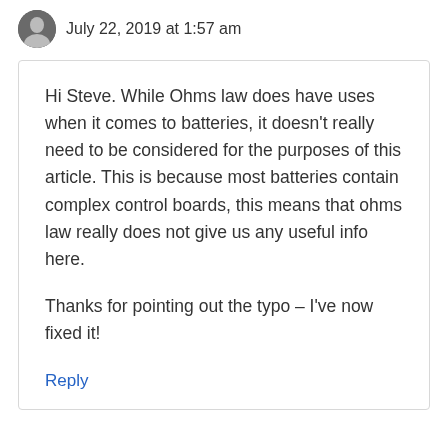July 22, 2019 at 1:57 am
Hi Steve. While Ohms law does have uses when it comes to batteries, it doesn't really need to be considered for the purposes of this article. This is because most batteries contain complex control boards, this means that ohms law really does not give us any useful info here.
Thanks for pointing out the typo – I've now fixed it!
Reply